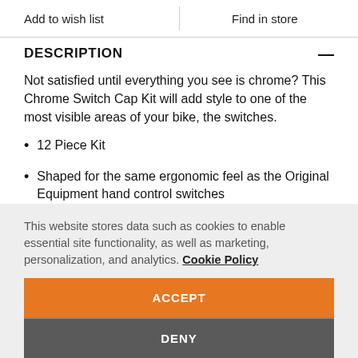Add to wish list | Find in store
DESCRIPTION
Not satisfied until everything you see is chrome? This Chrome Switch Cap Kit will add style to one of the most visible areas of your bike, the switches.
12 Piece Kit
Shaped for the same ergonomic feel as the Original Equipment hand control switches
This website stores data such as cookies to enable essential site functionality, as well as marketing, personalization, and analytics. Cookie Policy
ACCEPT
DENY